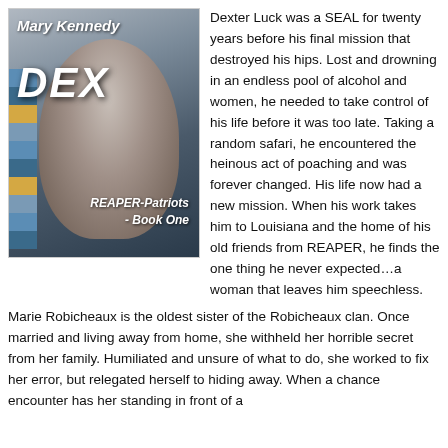[Figure (illustration): Book cover for 'DEX' by Mary Kennedy, REAPER-Patriots Book One. Shows a man's face in black and white with decorative colored blocks on the left side.]
Dexter Luck was a SEAL for twenty years before his final mission that destroyed his hips. Lost and drowning in an endless pool of alcohol and women, he needed to take control of his life before it was too late. Taking a random safari, he encountered the heinous act of poaching and was forever changed. His life now had a new mission. When his work takes him to Louisiana and the home of his old friends from REAPER, he finds the one thing he never expected…a woman that leaves him speechless.
Marie Robicheaux is the oldest sister of the Robicheaux clan. Once married and living away from home, she withheld her horrible secret from her family. Humiliated and unsure of what to do, she worked to fix her error, but relegated herself to hiding away. When a chance encounter has her standing in front of a